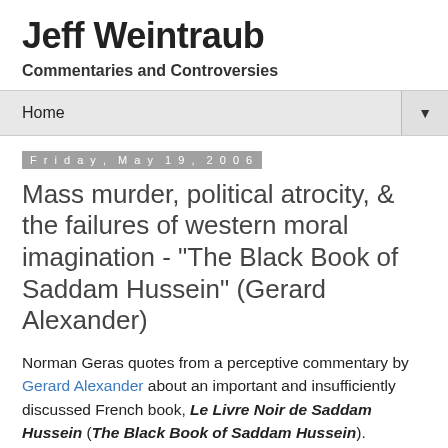Jeff Weintraub
Commentaries and Controversies
Home ▼
Friday, May 19, 2006
Mass murder, political atrocity, & the failures of western moral imagination - "The Black Book of Saddam Hussein" (Gerard Alexander)
Norman Geras quotes from a perceptive commentary by Gerard Alexander about an important and insufficiently discussed French book, Le Livre Noir de Saddam Hussein (The Black Book of Saddam Hussein). Whatever one thinks about whether or not the 2003 Iraq war was a good idea, the nature and record of the Iraqi Ba'ath regime raise